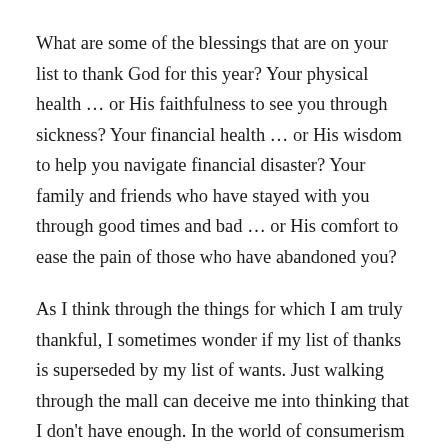What are some of the blessings that are on your list to thank God for this year? Your physical health … or His faithfulness to see you through sickness? Your financial health … or His wisdom to help you navigate financial disaster? Your family and friends who have stayed with you through good times and bad … or His comfort to ease the pain of those who have abandoned you?
As I think through the things for which I am truly thankful, I sometimes wonder if my list of thanks is superseded by my list of wants. Just walking through the mall can deceive me into thinking that I don't have enough. In the world of consumerism in which we live, I need to guard against becoming discontented